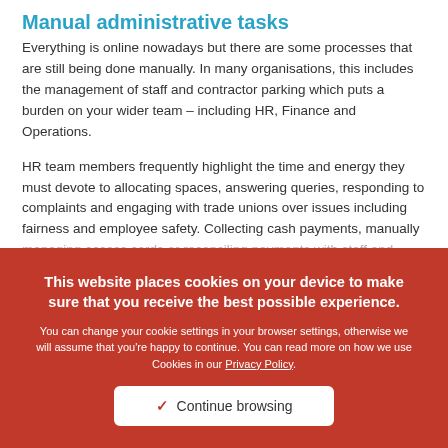Manual administrative tasks
Everything is online nowadays but there are some processes that are still being done manually. In many organisations, this includes the management of staff and contractor parking which puts a burden on your wider team – including HR, Finance and Operations.
HR team members frequently highlight the time and energy they must devote to allocating spaces, answering queries, responding to complaints and engaging with trade unions over issues including fairness and employee safety. Collecting cash payments, manually managing access cards or reconciling payments with staff and contractors can push already stretched HR teams right to the edge.
The challenge is particularly acute for healthcare providers that hope to access site parking, for example. From full time health and administration employees, senior consultants and doctors, through to part time ancillaries and visiting contractors, decisions must be made on who can access parking, how much they pay, and where these spaces are located. And it all
This website places cookies on your device to make sure that you receive the best possible experience.

You can change your cookie settings in your browser settings, otherwise we will assume that you're happy to continue. You can read more on how we use Cookies in our Privacy Policy.

✓ Continue browsing